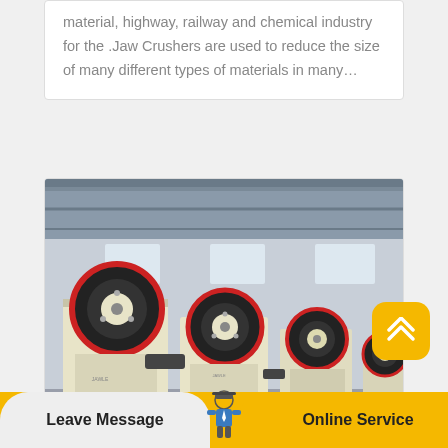material, highway, railway and chemical industry for the .Jaw Crushers are used to reduce the size of many different types of materials in many…
[Figure (photo): Multiple jaw crusher machines lined up in an industrial factory/warehouse setting. Machines are cream/beige colored with red and black flywheel discs on top.]
Leave Message
Online Service